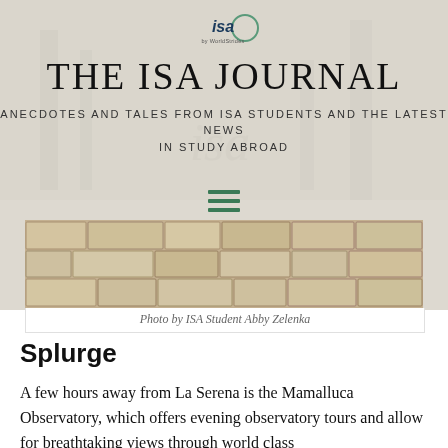[Figure (logo): ISA by WorldStrides logo — circular green ring with 'isa' text and 'by WorldStrides' subtitle]
THE ISA JOURNAL
ANECDOTES AND TALES FROM ISA STUDENTS AND THE LATEST NEWS IN STUDY ABROAD
[Figure (other): Hamburger menu icon with three green horizontal lines]
[Figure (photo): Photograph of a stone wall with light tan/beige limestone blocks]
Photo by ISA Student Abby Zelenka
Splurge
A few hours away from La Serena is the Mamalluca Observatory, which offers evening observatory tours and allow for breathtaking views through world class